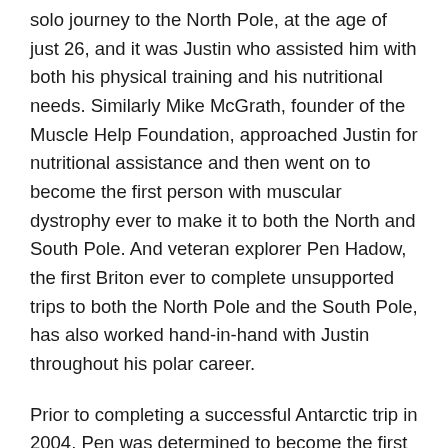solo journey to the North Pole, at the age of just 26, and it was Justin who assisted him with both his physical training and his nutritional needs. Similarly Mike McGrath, founder of the Muscle Help Foundation, approached Justin for nutritional assistance and then went on to become the first person with muscular dystrophy ever to make it to both the North and South Pole. And veteran explorer Pen Hadow, the first Briton ever to complete unsupported trips to both the North Pole and the South Pole, has also worked hand-in-hand with Justin throughout his polar career.
Prior to completing a successful Antarctic trip in 2004, Pen was determined to become the first British person ever to reach the North Pole, by himself and without any external assistance or resupply. The journey could take anything up to 70 days, which meant that Pen needed high levels of fitness, stamina and endurance. He also needed food that would provide sufficient levels of energy, whilst still being light enough to drag in a sledge. Getting this balance right was